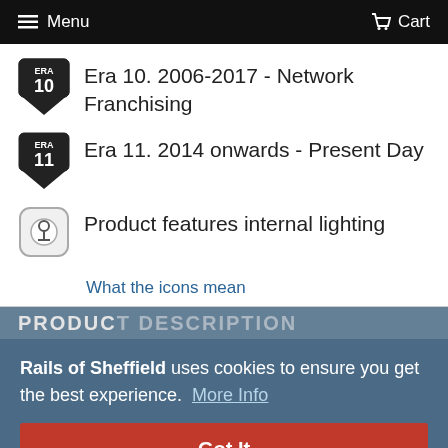Menu  Cart
Era 10. 2006-2017 - Network Franchising
Era 11. 2014 onwards - Present Day
Product features internal lighting
What the icons mean
PRODUCT DESCRIPTION
Rails of Sheffield uses cookies to ensure you get the best experience. More Info
Got It
model)